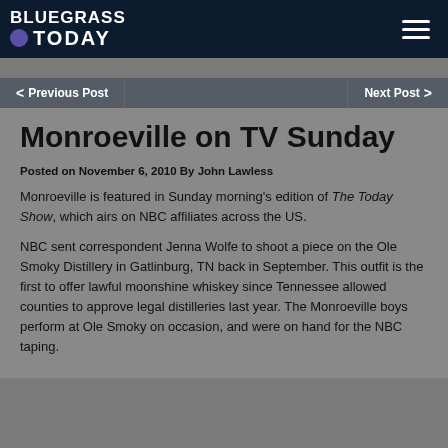Bluegrass Today
< Previous Post    Next Post >
Monroeville on TV Sunday
Posted on November 6, 2010 By John Lawless
Monroeville is featured in Sunday morning's edition of The Today Show, which airs on NBC affiliates across the US.
NBC sent correspondent Jenna Wolfe to shoot a piece on the Ole Smoky Distillery in Gatlinburg, TN back in September. This outfit is the first to offer lawful moonshine whiskey since Tennessee allowed counties to approve legal distilleries last year. The Monroeville boys perform at Ole Smoky on occasion, and were on hand for the NBC taping.